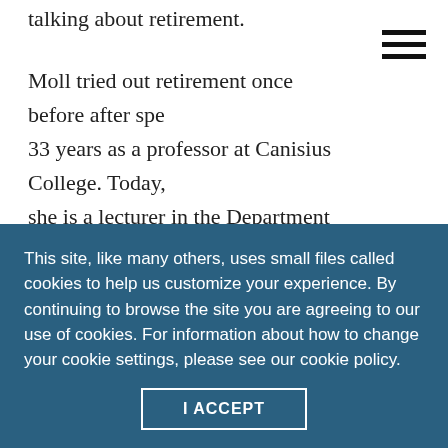talking about retirement.
Moll tried out retirement once before after spe 33 years as a professor at Canisius College. Today, she is a lecturer in the Department of Counselor Education at Kean University and doesn't plan on retiring again anytime soon.
“I still love teaching,” she says. “I’m happy being me and doing what I enjoy. And when I don’t enjoy this
This site, like many others, uses small files called cookies to help us customize your experience. By continuing to browse the site you are agreeing to our use of cookies. For information about how to change your cookie settings, please see our cookie policy.
I ACCEPT